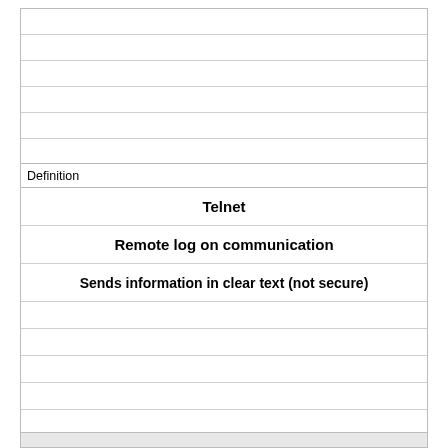Definition
Telnet
Remote log on communication
Sends information in clear text (not secure)
Term
Port 69 (UDP)